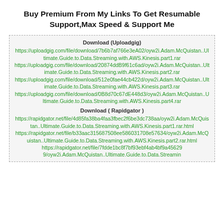Buy Premium From My Links To Get Resumable Support,Max Speed & Support Me
Download (Uploadgig)
https://uploadgig.com/file/download/7b6b7af766e3eA02/oyw2i.Adam.McQuistan..Ultimate.Guide.to.Data.Streaming.with.AWS.Kinesis.part1.rar
https://uploadgig.com/file/download/20874ddB9f61c6ad/oyw2i.Adam.McQuistan..Ultimate.Guide.to.Data.Streaming.with.AWS.Kinesis.part2.rar
https://uploadgig.com/file/download/512e0fae44cb422d/oyw2i.Adam.McQuistan..Ultimate.Guide.to.Data.Streaming.with.AWS.Kinesis.part3.rar
https://uploadgig.com/file/download/0B8d70c67dE448d3/oyw2i.Adam.McQuistan..Ultimate.Guide.to.Data.Streaming.with.AWS.Kinesis.part4.rar
Download ( Rapidgator )
https://rapidgator.net/file/4d85fa38ba4faa3fbec2f6be3dc738aa/oyw2i.Adam.McQuistan..Ultimate.Guide.to.Data.Streaming.with.AWS.Kinesis.part1.rar.html
https://rapidgator.net/file/b33aac315687508ee586031708e57634/oyw2i.Adam.McQuistan..Ultimate.Guide.to.Data.Streaming.with.AWS.Kinesis.part2.rar.html
https://rapidgator.net/file/7fdde1bc8f7bf93ebf4ab4bf9a456299/oyw2i.Adam.McQuistan..Ultimate.Guide.to.Data.Streaming.with.AWS.Kinesis.part...